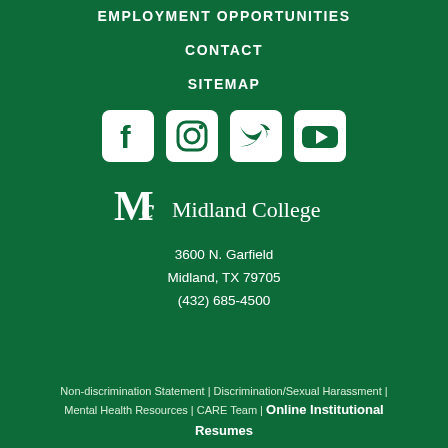EMPLOYMENT OPPORTUNITIES
CONTACT
SITEMAP
[Figure (illustration): Social media icons: Facebook, Instagram, Twitter, YouTube — white rounded-square icons on green background]
[Figure (logo): Midland College logo with MC monogram and text 'Midland College']
3600 N. Garfield
Midland, TX 79705
(432) 685-4500
Non-discrimination Statement | Discrimination/Sexual Harassment | Mental Health Resources | CARE Team | Online Institutional Resumes